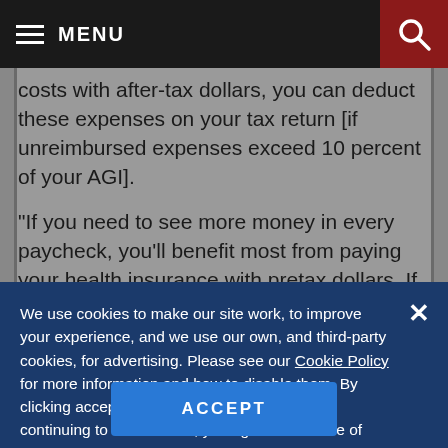MENU
costs with after-tax dollars, you can deduct these expenses on your tax return [if unreimbursed expenses exceed 10 percent of your AGI].
"If you need to see more money in every paycheck, you'll benefit most from paying your health insurance with pretax dollars. If
We use cookies to make our site work, to improve your experience, and we use our own, and third-party cookies, for advertising. Please see our Cookie Policy for more information and how to disable them. By clicking accept, or closing the message and continuing to use this site, you agree to our use of cookies.
ACCEPT